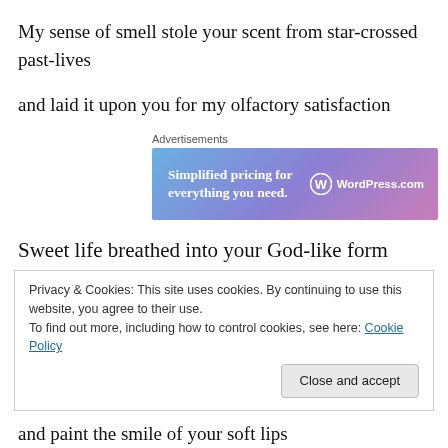My sense of smell stole your scent from star-crossed past-lives
and laid it upon you for my olfactory satisfaction
[Figure (other): WordPress.com advertisement banner: 'Simplified pricing for everything you need.' with WordPress.com logo]
Sweet life breathed into your God-like form
Privacy & Cookies: This site uses cookies. By continuing to use this website, you agree to their use. To find out more, including how to control cookies, see here: Cookie Policy
and paint the smile of your soft lips